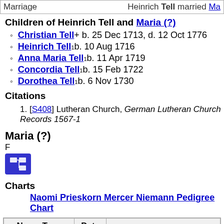| Marriage | Heinrich Tell married Ma... |
| --- | --- |
Children of Heinrich Tell and Maria (?)
Christian Tell+ b. 25 Dec 1713, d. 12 Oct 1776
Heinrich Tell1 b. 10 Aug 1716
Anna Maria Tell1 b. 11 Apr 1719
Concordia Tell1 b. 15 Feb 1722
Dorothea Tell1 b. 6 Nov 1730
Citations
1. [S408] Lutheran Church, German Lutheran Church Records 1567-1...
Maria (?)
F
Charts
Naomi Prieskorn Mercer Niemann Pedigree Chart
| Name Type | Date |  |
| --- | --- | --- |
| Married Name |  | Her married name was T... |
| Married Name |  | Her married name was... |